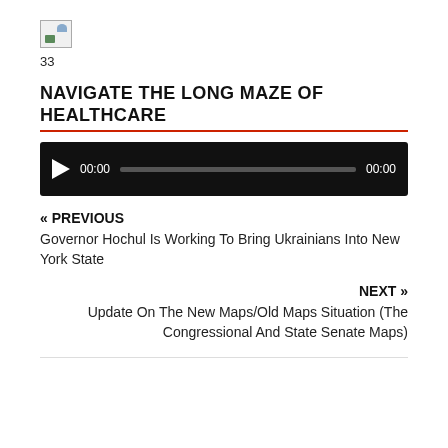[Figure (other): Broken/placeholder image icon]
33
NAVIGATE THE LONG MAZE OF HEALTHCARE
[Figure (other): Audio player with play button, 00:00 start time, progress bar, 00:00 end time on dark background]
« PREVIOUS
Governor Hochul Is Working To Bring Ukrainians Into New York State
NEXT »
Update On The New Maps/Old Maps Situation (The Congressional And State Senate Maps)